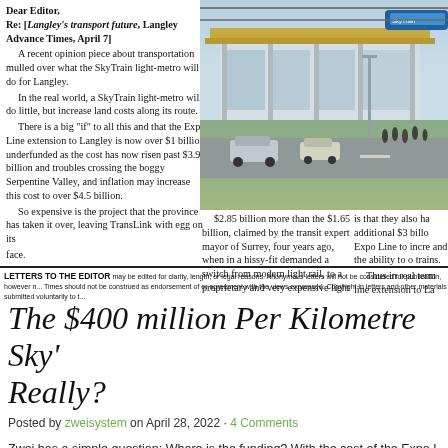Dear Editor,
Re: [Langley's transport future, Langley Advance Times, April 7]
A recent opinion piece about transportation mulled over what the SkyTrain light-metro will do for Langley.
In the real world, a SkyTrain light-metro will do little, but increase land costs along its route.
There is a big “if” to all this and that the Expo Line extension to Langley is now over $1 billion underfunded as the cost has now risen past $3.95 billion and troubles crossing the boggy Serpentine Valley, and inflation may increase this cost to over $4.5 billion.
So expensive is the project that the province has taken it over, leaving TransLink with egg on its face.
[Figure (photo): Architectural rendering of a SkyTrain station exterior with modern canopy roof, glass walls, cars and pedestrians in the foreground]
$2.85 billion more than the $1.65 billion, claimed by the transit expert mayor of Surrey, four years ago, when in a hissy-fit demanded a switch from modern light rail, to a proprietary and very expensive light metro system.
The problem facing TransLink
is that they also ha additional $3 billi Expo Line to incre and the ability to o trains.
Thus in real term line extension to La over $7.5 billion a include the $2 bill
LETTERS TO THE EDITOR may be edited for clarity, length, or legal reasons. Anonymous letters will not be considered for publication, however n... Times should not be construed as endorsement of or agreement with the views expressed. Copyright in letters and other materials submitted voluntarily to t...
The $400 million Per Kilometre Sky'... Really?
Posted by zweisystem on April 28, 2022 · 4 Comments
Zwei has a simple question: Where is the funding? With the cost of the Expo L...